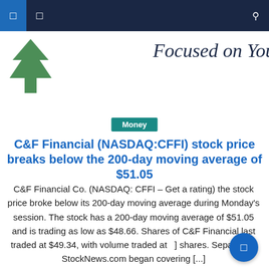Navigation bar with menu icons and search
[Figure (logo): C&F Financial logo with green tree icon and italic tagline 'Focused on You']
Money
C&F Financial (NASDAQ:CFFI) stock price breaks below the 200-day moving average of $51.05
C&F Financial Co. (NASDAQ: CFFI – Get a rating) the stock price broke below its 200-day moving average during Monday's session. The stock has a 200-day moving average of $51.05 and is trading as low as $48.66. Shares of C&F Financial last traded at $49.34, with volume traded at [ ] shares. Separately, StockNews.com began covering [...]